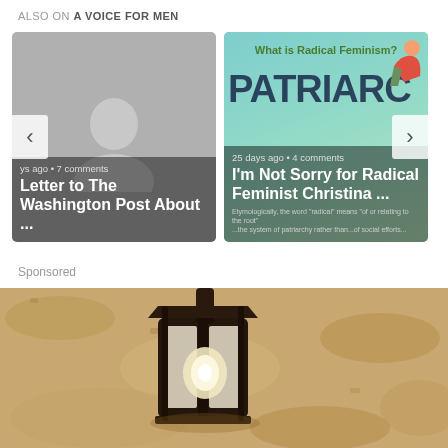ALSO ON A VOICE FOR MEN
[Figure (screenshot): Content card carousel with two article previews. Left card: grey avatar placeholder image with text 'Letter to The Washington Post About ...' and metadata 'days ago • 7 comments'. Right card: colorful infographic background with 'What is Radical Feminism?' and 'PATRIARCHY' graffiti text, article title 'I'm Not Sorry for Radical Feminist Christina ...' and metadata '25 days ago • 4 comments'. Navigation arrows on both sides.]
Sponsored
[Figure (photo): Close-up sepia-toned photograph of an outdoor wall-mounted lantern light fixture against a textured stucco wall.]